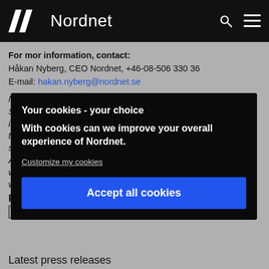Nordnet
For mor information, contact:
Håkan Nyberg, CEO Nordnet, +46-08-506 330 36
E-mail: hakan.nyberg@nordnet.se
Nordnet is a Nordic online bank with about 508,700 accounts in Sweden, Norway, Denmark and Finland. We offer private individuals and companies services that make it possible to ta… us s… t A… w… w…
P…
Latest press releases
Your cookies - your choice
With cookies can we improve your overall experience of Nordnet.
Customize my cookies
Accept all cookies